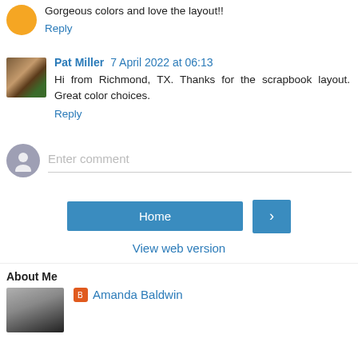Gorgeous colors and love the layout!!
Reply
Pat Miller 7 April 2022 at 06:13
Hi from Richmond, TX. Thanks for the scrapbook layout. Great color choices.
Reply
Enter comment
Home
>
View web version
About Me
Amanda Baldwin